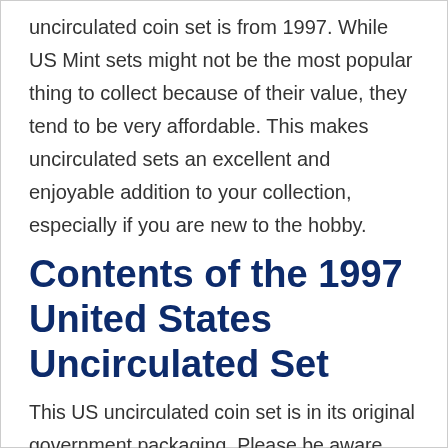uncirculated coin set is from 1997. While US Mint sets might not be the most popular thing to collect because of their value, they tend to be very affordable. This makes uncirculated sets an excellent and enjoyable addition to your collection, especially if you are new to the hobby.
Contents of the 1997 United States Uncirculated Set
This US uncirculated coin set is in its original government packaging. Please be aware